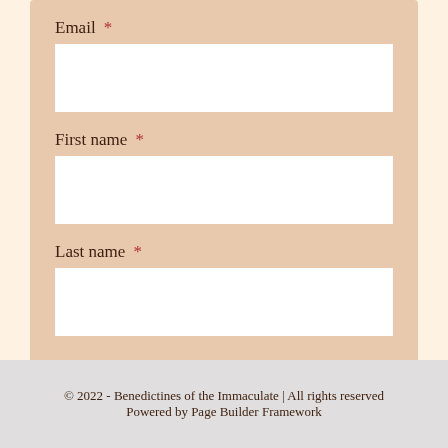Email *
First name *
Last name *
Subscribe
© 2022 - Benedictines of the Immaculate | All rights reserved
Powered by Page Builder Framework